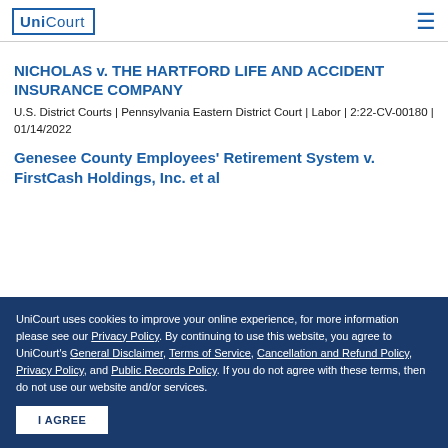UniCourt
NICHOLAS v. THE HARTFORD LIFE AND ACCIDENT INSURANCE COMPANY
U.S. District Courts | Pennsylvania Eastern District Court | Labor | 2:22-CV-00180 | 01/14/2022
Genesee County Employees' Retirement System v. FirstCash Holdings, Inc. et al
UniCourt uses cookies to improve your online experience, for more information please see our Privacy Policy. By continuing to use this website, you agree to UniCourt's General Disclaimer, Terms of Service, Cancellation and Refund Policy, Privacy Policy, and Public Records Policy. If you do not agree with these terms, then do not use our website and/or services.
I AGREE